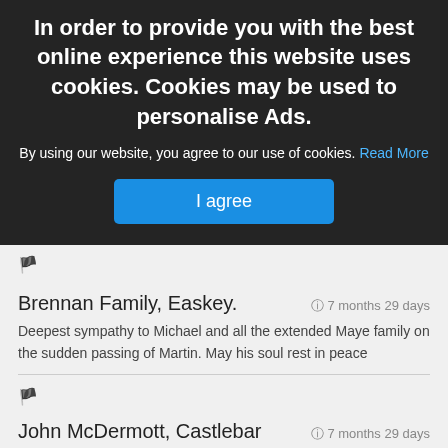In order to provide you with the best online experience this website uses cookies. Cookies may be used to personalise Ads.
By using our website, you agree to our use of cookies. Read More
I agree
Brennan Family, Easkey.   7 months 29 days
Deepest sympathy to Michael and all the extended Maye family on the sudden passing of Martin. May his soul rest in peace
John McDermott, Castlebar   7 months 29 days
Sincere sympathy to the Maye family on Martins death. May he